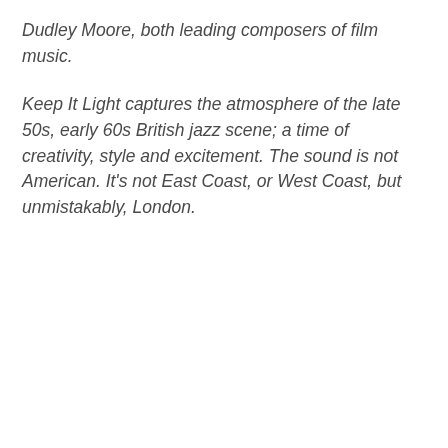Dudley Moore, both leading composers of film music.
Keep It Light captures the atmosphere of the late 50s, early 60s British jazz scene; a time of creativity, style and excitement. The sound is not American. It's not East Coast, or West Coast, but unmistakably, London.